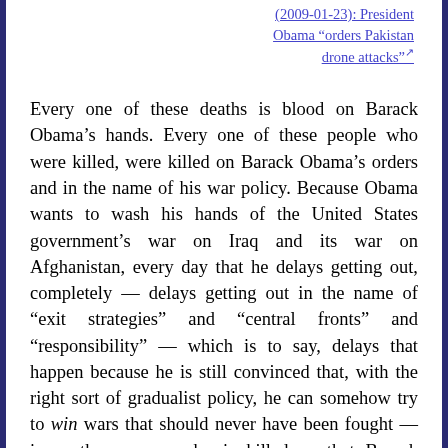(2009-01-23): President Obama “orders Pakistan drone attacks”
Every one of these deaths is blood on Barack Obama’s hands. Every one of these people who were killed, were killed on Barack Obama’s orders and in the name of his war policy. Because Obama wants to wash his hands of the United States government’s war on Iraq and its war on Afghanistan, every day that he delays getting out, completely — delays getting out in the name of “exit strategies” and “central fronts” and “responsibility” — which is to say, delays that happen because he is still convinced that, with the right sort of gradualist policy, he can somehow try to win wars that should never have been fought — is another person who is killed so that Barack Obama, after being elected as a peace candidate, can adopt and prolong the collossal, catastrophic mistakes of a disastrous